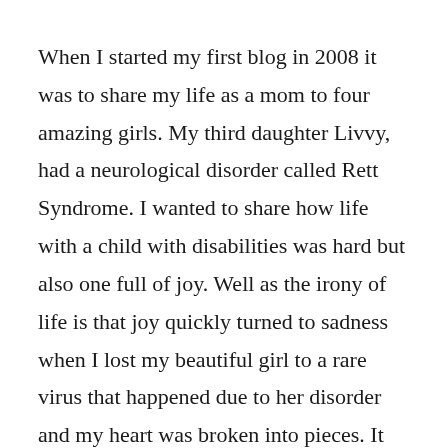When I started my first blog in 2008 it was to share my life as a mom to four amazing girls. My third daughter Livvy, had a neurological disorder called Rett Syndrome. I wanted to share how life with a child with disabilities was hard but also one full of joy. Well as the irony of life is that joy quickly turned to sadness when I lost my beautiful girl to a rare virus that happened due to her disorder and my heart was broken into pieces. It was then I was ready to close down my online space and disappear into the pain of my grief but I was encouraged to share my heart, to share my pain in hope that maybe it would make others facing the same thing feel less alone. This is what I did and I have many